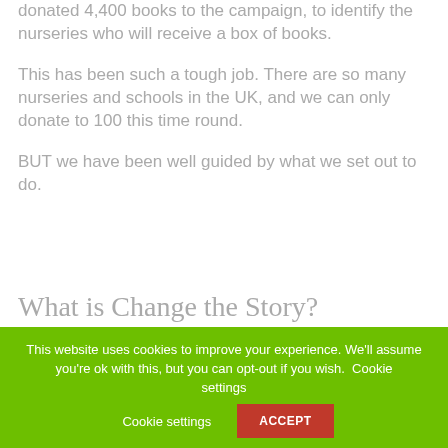donated 4,400 books to the campaign, to identify the nurseries who will receive a box of books.
This has been such a tough job. There are so many nurseries and schools in the UK, and we can only donate to 100 this time round.
BUT we have been well guided by what we set out to do.
What is Change the Story?
This website uses cookies to improve your experience. We'll assume you're ok with this, but you can opt-out if you wish. Cookie settings ACCEPT